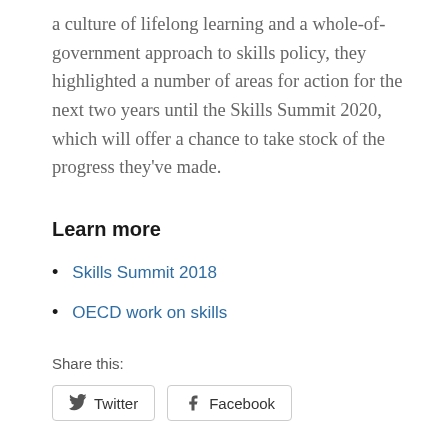a culture of lifelong learning and a whole-of-government approach to skills policy, they highlighted a number of areas for action for the next two years until the Skills Summit 2020, which will offer a chance to take stock of the progress they’ve made.
Learn more
Skills Summit 2018
OECD work on skills
Share this:
Twitter  Facebook